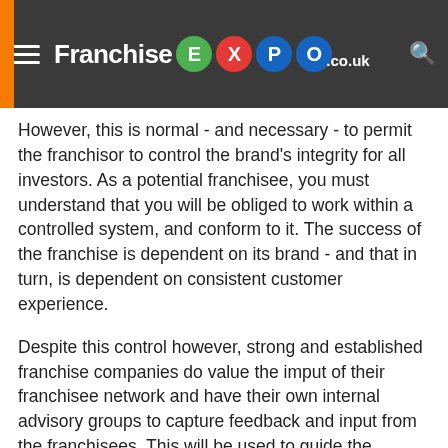franchisors comment on the heavy control … believe … strongly favoured for the franc… Franchise EXPO .co.uk
However, this is normal - and necessary - to permit the franchisor to control the brand's integrity for all investors. As a potential franchisee, you must understand that you will be obliged to work within a controlled system, and conform to it. The success of the franchise is dependent on its brand - and that in turn, is dependent on consistent customer experience.
Despite this control however, strong and established franchise companies do value the imput of their franchisee network and have their own internal advisory groups to capture feedback and input from the franchisees. This will be used to guide the company's strategic direction. A good franchisor will view their franchisees as partners in a strategic business sense. Of course, the partnership doesn't exist in the legal sense - ultimately the franchisor has final say, although they may take input. The franchisor effectively acts